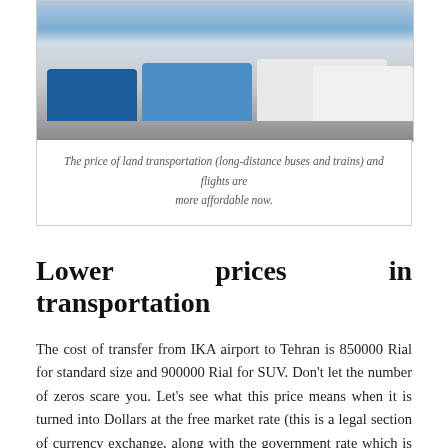[Figure (photo): A row of buses parked in a lot, including blue and white long-distance buses under a clear sky.]
The price of land transportation (long-distance buses and trains) and flights are more affordable now.
Lower prices in transportation
The cost of transfer from IKA airport to Tehran is 850000 Rial for standard size and 900000 Rial for SUV. Don't let the number of zeros scare you. Let's see what this price means when it is turned into Dollars at the free market rate (this is a legal section of currency exchange, along with the government rate which is always lower. You can